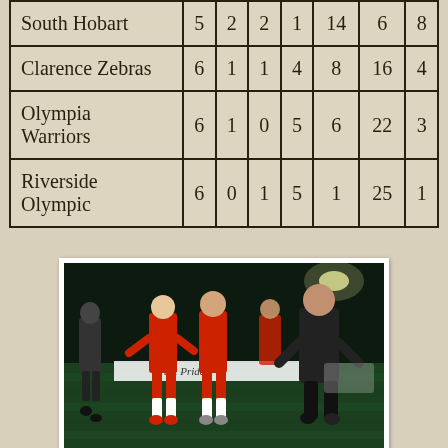| South Hobart | 5 | 2 | 2 | 1 | 14 | 6 | 8 |
| Clarence Zebras | 6 | 1 | 1 | 4 | 8 | 16 | 4 |
| Olympia Warriors | 6 | 1 | 0 | 5 | 6 | 22 | 3 |
| Riverside Olympic | 6 | 0 | 1 | 5 | 1 | 25 | 1 |
[Figure (photo): Football players and coach in red uniforms walking on a pitch at night near a banner reading 'the Pride']